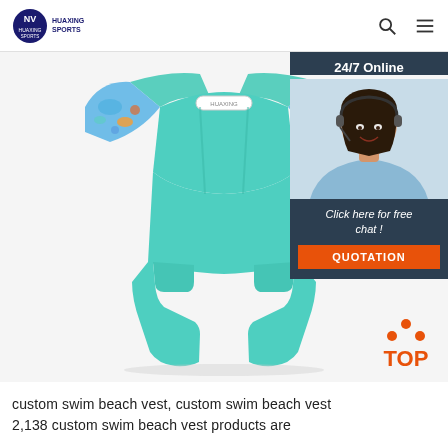HUAXING SPORTS
[Figure (photo): Teal/aqua children's swim beach vest one-piece swimsuit with short sleeves and blue patterned sleeve panels featuring ocean/fish print, shown flat against white background. A brand label is visible at the chest.]
[Figure (photo): 24/7 Online chat agent widget: dark navy background with text '24/7 Online', a photo of a smiling female customer service agent with headset, text 'Click here for free chat!' in italic white, and an orange 'QUOTATION' button below.]
custom swim beach vest, custom swim beach vest 2,138 custom swim beach vest products are